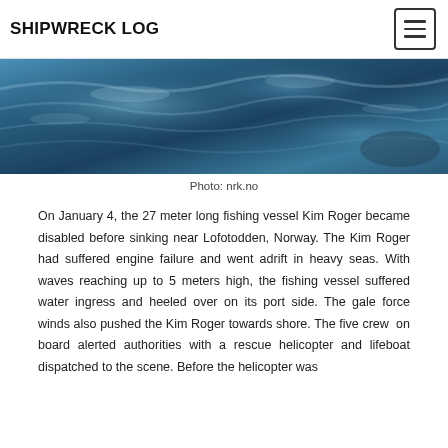SHIPWRECK LOG
[Figure (photo): Ocean wave photograph showing dark blue turbulent sea water, partial crop showing top portion of wave image]
Photo: nrk.no
On January 4, the 27 meter long fishing vessel Kim Roger became disabled before sinking near Lofotodden, Norway. The Kim Roger had suffered engine failure and went adrift in heavy seas. With waves reaching up to 5 meters high, the fishing vessel suffered water ingress and heeled over on its port side. The gale force winds also pushed the Kim Roger towards shore. The five crew on board alerted authorities with a rescue helicopter and lifeboat dispatched to the scene. Before the helicopter was